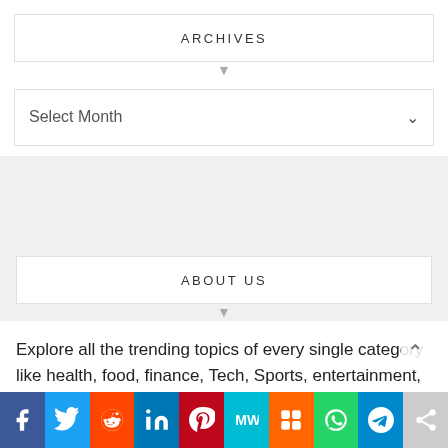ARCHIVES
Select Month
ABOUT US
Explore all the trending topics of every single category like health, food, finance, Tech, Sports, entertainment, lifestyle etc at Web Newz Network– an emerging platform with all